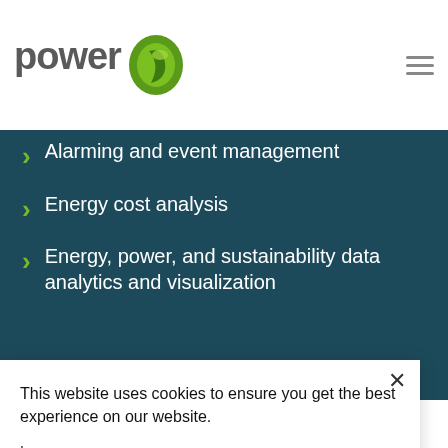[Figure (logo): Power Advocate logo: 'power' text in gray with a green leaf/P icon]
Alarming and event management
Energy cost analysis
Energy, power, and sustainability data analytics and visualization
This website uses cookies to ensure you get the best experience on our website.
Learn more
Decline
Accept
use as a part of an ISO50001, and